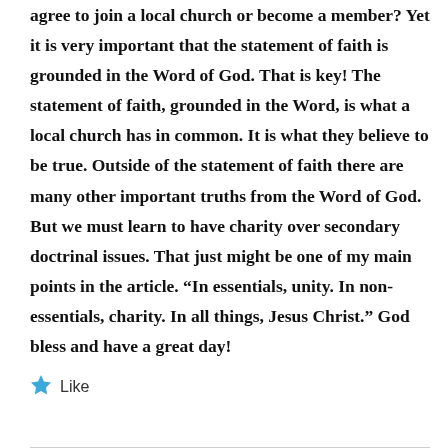agree to join a local church or become a member? Yet it is very important that the statement of faith is grounded in the Word of God. That is key! The statement of faith, grounded in the Word, is what a local church has in common. It is what they believe to be true. Outside of the statement of faith there are many other important truths from the Word of God. But we must learn to have charity over secondary doctrinal issues. That just might be one of my main points in the article. “In essentials, unity. In non-essentials, charity. In all things, Jesus Christ.” God bless and have a great day!
Like